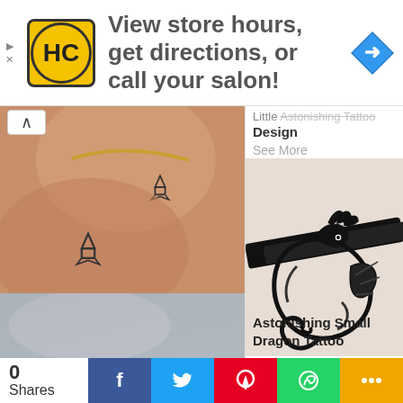[Figure (screenshot): Advertisement banner with HC logo, text 'View store hours, get directions, or call your salon!' and a blue navigation arrow icon]
[Figure (photo): Two feet/ankles with small matching rocket/arrow tattoos on skin]
Bewildering Small Matching Tattoo
See More
[Figure (photo): Partially visible text at top right: 'Little Astonishing Tattoo Design']
See More
[Figure (photo): Woman's shoulder/back with large black tribal dragon tattoo, wearing black bra strap]
Astonishing Small Dragon Tattoo
[Figure (photo): Partial photo at bottom left, blurry tattoo image]
0 Shares  [Facebook] [Twitter] [Pinterest] [WhatsApp] [Share]